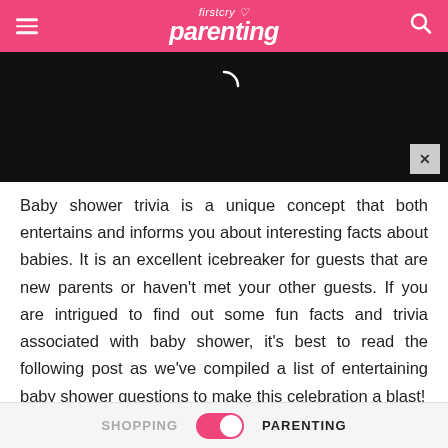firstcry parenting
[Figure (screenshot): Black video player area with loading spinner and close (x) button in bottom right corner]
Baby shower trivia is a unique concept that both entertains and informs you about interesting facts about babies. It is an excellent icebreaker for guests that are new parents or haven't met your other guests. If you are intrigued to find out some fun facts and trivia associated with baby shower, it's best to read the following post as we've compiled a list of entertaining baby shower questions to make this celebration a blast!
SHOPPING   PARENTING